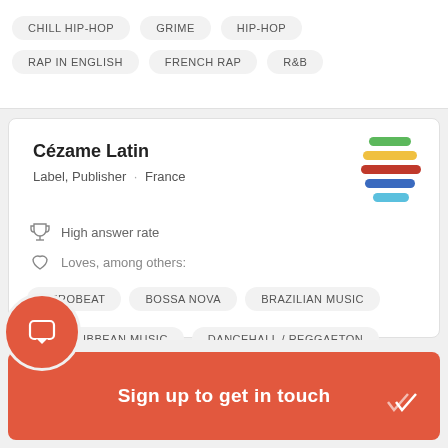CHILL HIP-HOP
GRIME
HIP-HOP
RAP IN ENGLISH
FRENCH RAP
R&B
Cézame Latin
Label, Publisher · France
High answer rate
Loves, among others:
AFROBEAT
BOSSA NOVA
BRAZILIAN MUSIC
CARIBBEAN MUSIC
DANCEHALL / REGGAETON
Sign up to get in touch